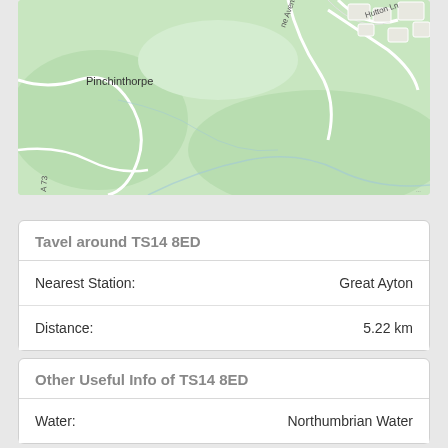[Figure (map): OpenStreetMap style map showing Pinchinthorpe area with green fields, white road outlines, labels for 'Pinchinthorpe', 'Hutton Ln', and other roads]
Tavel around TS14 8ED
| Nearest Station: | Great Ayton |
| Distance: | 5.22 km |
Other Useful Info of TS14 8ED
| Water: | Northumbrian Water |